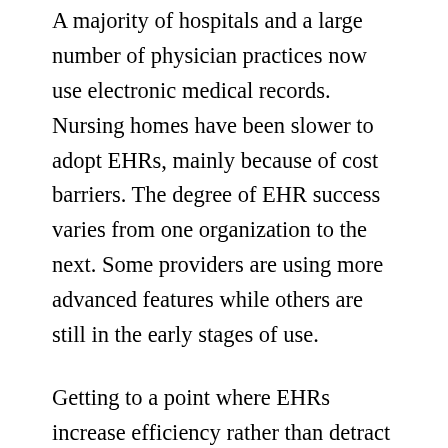A majority of hospitals and a large number of physician practices now use electronic medical records. Nursing homes have been slower to adopt EHRs, mainly because of cost barriers. The degree of EHR success varies from one organization to the next. Some providers are using more advanced features while others are still in the early stages of use.
Getting to a point where EHRs increase efficiency rather than detract from it is something a lot of providers struggle with. However, providers need to stick with EHRs and strive to take full advantage of the capabilities of their technology. Why? Because EHRs give providers a better understanding of critical care points and associated risks, which means more opportunity to manage patient populations and health outcomes. Also, EHRs help improve data sharing with other partners in the medical chain so care can be better coordinated.